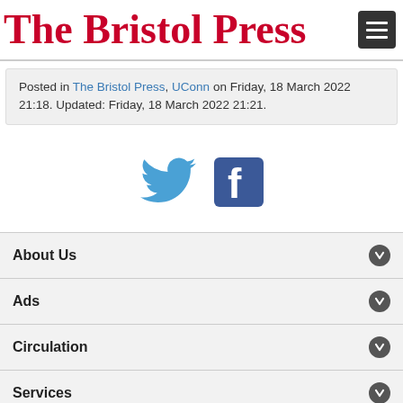The Bristol Press
Posted in The Bristol Press, UConn on Friday, 18 March 2022 21:18. Updated: Friday, 18 March 2022 21:21.
[Figure (logo): Twitter and Facebook social media icons]
About Us
Ads
Circulation
Services